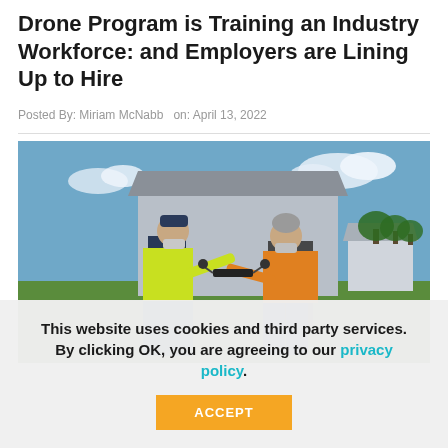Drone Program is Training an Industry Workforce: and Employers are Lining Up to Hire
Posted By: Miriam McNabb  on: April 13, 2022
[Figure (photo): Two workers in safety vests and face masks examining a drone outdoors near a farm building]
This website uses cookies and third party services. By clicking OK, you are agreeing to our privacy policy.